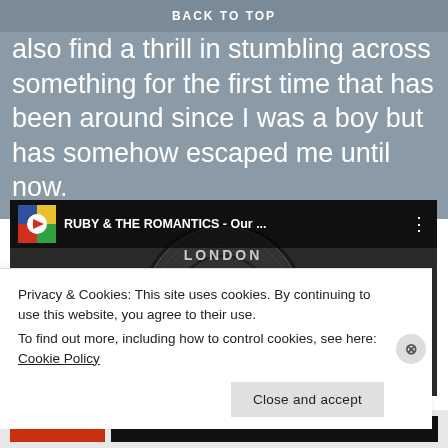BACK TO TOP
also find a thrill in stumbling across something for the first time that has been around since I was a boy but has somehow escaped me until now.
[Figure (screenshot): YouTube video thumbnail showing a London Records vinyl 45 RPM single label for Ruby & The Romantics. The record label reads 'LONDON', 'MADE IN ENGLAND', 'THE DECCA RECORDS CO LTD', 'RECORDING FIRST PUBLISHED 1963', 'Recorded by KAPP, New York', 'Rosewood', '45 R.P.M.', 'M/T (6629 ASW)', '45-HL-R. 9679'. A YouTube play button overlay is shown. The video title bar reads 'RUBY & THE ROMANTICS - Our ...' with a colorful YouTube logo on the left.]
Privacy & Cookies: This site uses cookies. By continuing to use this website, you agree to their use.
To find out more, including how to control cookies, see here: Cookie Policy
Close and accept